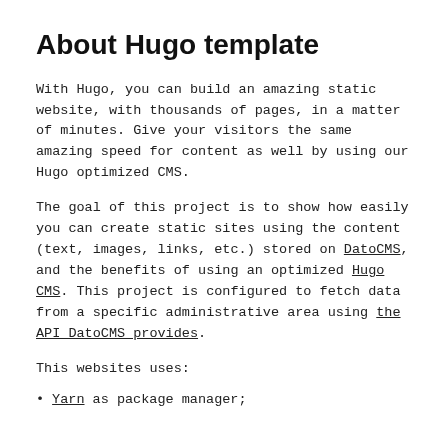About Hugo template
With Hugo, you can build an amazing static website, with thousands of pages, in a matter of minutes. Give your visitors the same amazing speed for content as well by using our Hugo optimized CMS.
The goal of this project is to show how easily you can create static sites using the content (text, images, links, etc.) stored on DatoCMS, and the benefits of using an optimized Hugo CMS. This project is configured to fetch data from a specific administrative area using the API DatoCMS provides.
This websites uses:
Yarn as package manager;